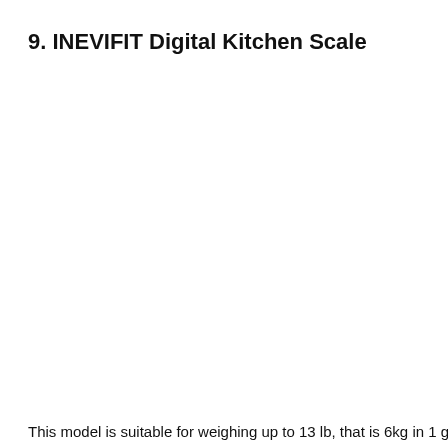9. INEVIFIT Digital Kitchen Scale
This model is suitable for weighing up to 13 lb, that is 6kg in 1 g